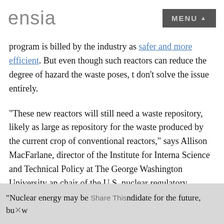ensia | MENU
program is billed by the industry as safer and more efficient. But even though such reactors can reduce the degree of hazard the waste poses, they don't solve the issue entirely.
“These new reactors will still need a waste repository, likely as large as the repository for the waste produced by the current crop of conventional reactors,” says Allison MacFarlane, director of the Institute for International Science and Technical Policy at The George Washington University and chair of the U.S. nuclear regulatory commission in 2012–14.
The other technology that could reduce waste, known as transmutation, to reduce radiotoxicity by using lasers to change the composition of dangerous waste. It has been investigated for decades in the U.K., U.S., Sweden and elsewhere but without great success.
“Nuclear energy may be a candidate for the future, bu…